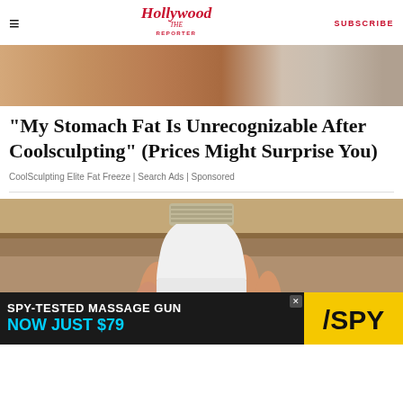The Hollywood Reporter | SUBSCRIBE
[Figure (photo): Top portion of a medical/cosmetic treatment advertisement image — skin and medical device visible]
"My Stomach Fat Is Unrecognizable After Coolsculpting" (Prices Might Surprise You)
CoolSculpting Elite Fat Freeze | Search Ads | Sponsored
[Figure (photo): A hand holding a white light bulb-shaped security camera with LED ring around lens, against a wood-toned background]
[Figure (infographic): Bottom advertisement banner: SPY-TESTED MASSAGE GUN NOW JUST $79 with SPY logo in yellow on black background]